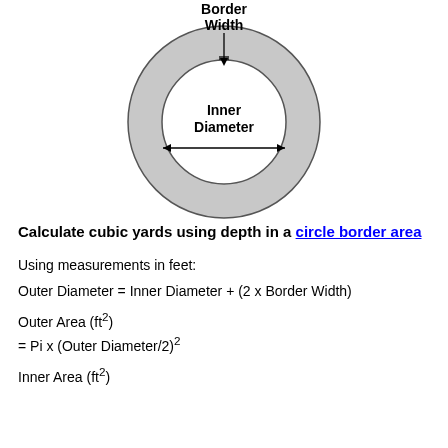[Figure (engineering-diagram): A ring/annulus diagram showing a circle with a gray border region. Labels indicate 'Border Width' at the top with an arrow pointing to the border, and 'Inner Diameter' in the center with a horizontal double-headed arrow.]
Calculate cubic yards using depth in a circle border area
Using measurements in feet: